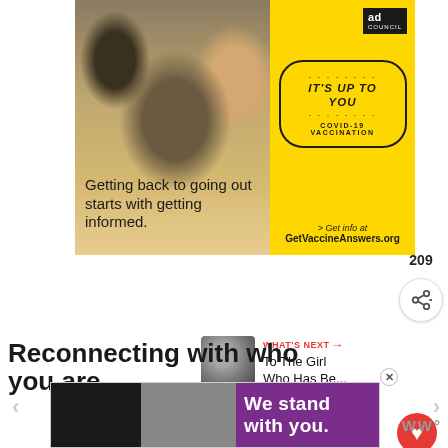[Figure (illustration): Ad Council advertisement: 'Getting back to going out starts with getting informed.' with yellow right panel featuring 'IT'S UP TO YOU COVID-19 VACCINATION' badge and GetVaccineAnswers.org URL. Left side shows photo of people laughing outdoors.]
209
[Figure (illustration): WHAT'S NEXT panel with thumbnail image and text 'To The Girl Who Has Be...']
Reconnecting with who you are...
[Figure (illustration): Bottom advertisement banner with dark left section, gray middle section, purple right section with text 'We stand with you.' and WW logo on the right.]